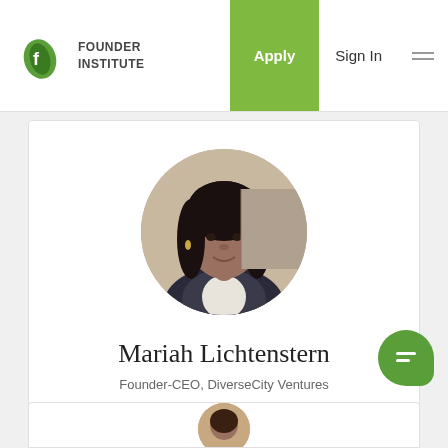[Figure (logo): Founder Institute logo with green leaf/seed icon and text FOUNDER INSTITUTE]
Apply   Sign In
[Figure (photo): Circular profile photo of Mariah Lichtenstern, a woman with long dark hair wearing a blazer]
Mariah Lichtenstern
Founder-CEO, DiverseCity Ventures
[Figure (logo): LinkedIn icon button (circular, green border)]
[Figure (illustration): Green chat bubble button in bottom right corner]
[Figure (photo): Bottom card stub showing top of another circular profile photo]